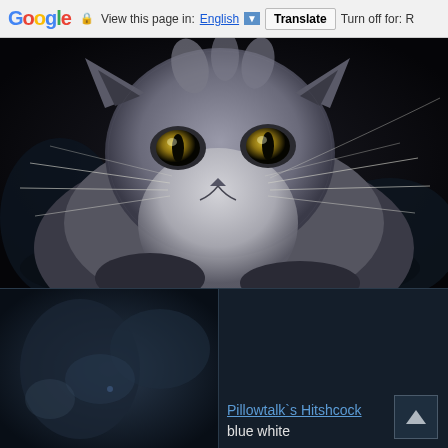Google  View this page in: English [▼]  Translate  Turn off for: R
[Figure (photo): Close-up photo of a fluffy gray and white long-haired cat with yellow-green eyes and long whiskers, looking directly at camera against a dark background]
[Figure (photo): Thumbnail of a dark blurred background image, partially visible]
Pillowtalk`s Hitshcock
blue white